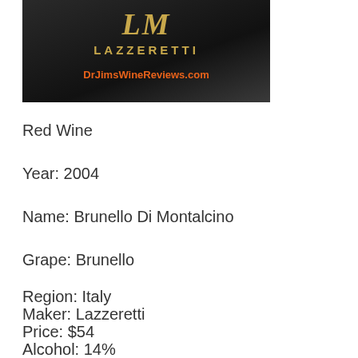[Figure (photo): Photo of a Lazzeretti wine bottle label showing LM logo in gold, LAZZERETTI text, and DrJimsWineReviews.com in orange on a dark background]
Red Wine
Year: 2004
Name: Brunello Di Montalcino
Grape: Brunello
Region: Italy
Maker: Lazzeretti
Price: $54
Alcohol: 14%